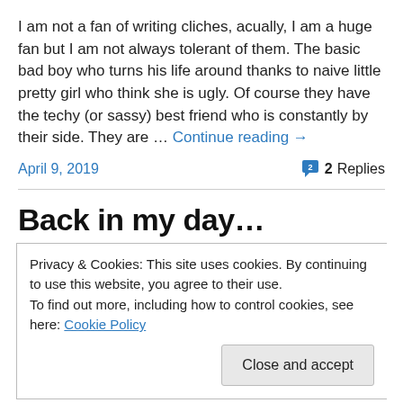I am not a fan of writing cliches, acually, I am a huge fan but I am not always tolerant of them. The basic bad boy who turns his life around thanks to naive little pretty girl who think she is ugly. Of course they have the techy (or sassy) best friend who is constantly by their side. They are … Continue reading →
April 9, 2019
2 Replies
Back in my day…
Privacy & Cookies: This site uses cookies. By continuing to use this website, you agree to their use.
To find out more, including how to control cookies, see here: Cookie Policy
Close and accept
laughed at as I aged. I am totally over that though, no hard